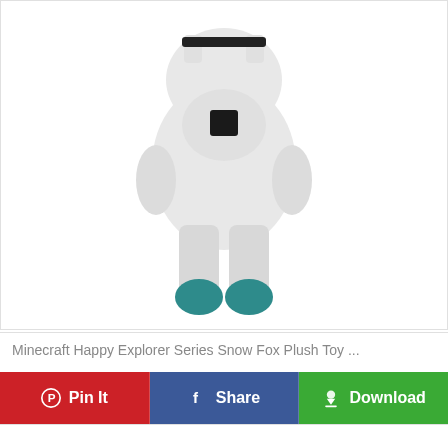[Figure (photo): Minecraft Happy Explorer Series Snow Fox Plush Toy shown from behind, white and grey stuffed animal with teal/dark cyan feet and black pixel-style markings on its back]
Minecraft Happy Explorer Series Snow Fox Plush Toy ...
Pin It
Share
Download